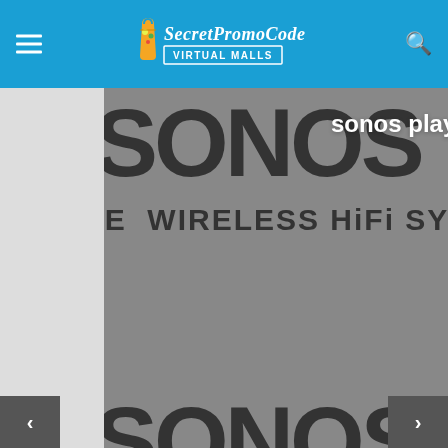SecretPromoCode - VIRTUAL MALLS
[Figure (screenshot): Sonos wireless HiFi speaker product card with gray background showing SONOS text watermark, VIRTUAL MALLS badge, title 'sonos play 1 wireless speaker white', and date March 16, 2021]
sonos play 1 wireless speaker white
March 16, 2021
[Figure (screenshot): Second Sonos product card with gray SONOS text watermark background, DEPARTMENT STORES/MALLS badge, VIRTUAL MALLS badge, and title 'sonos accessories']
DEPARTMENT STORES/MALLS
VIRTUAL MALLS
sonos accessories